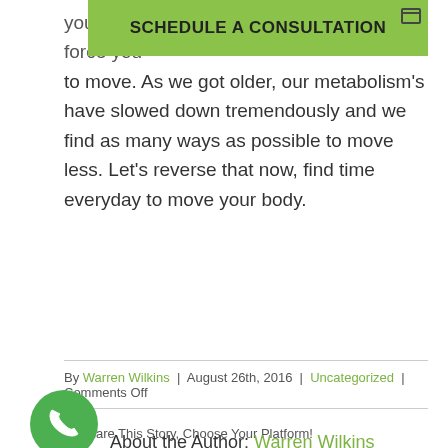[Figure (screenshot): Green banner with text SCHEDULE A CONSULTATION and a browser-minimize icon in top right]
your it, and other chase games that would force you to move. As we got older, our metabolism's have slowed down tremendously and we find as many ways as possible to move less. Let's reverse that now, find time everyday to move your body.
By Warren Wilkins | August 26th, 2016 | Uncategorized | Comments Off
Share This Story, Choose Your Platform!
[Figure (infographic): Social media share icons: Facebook, Twitter, LinkedIn, Reddit, Tumblr, Google+, Pinterest, VK, Email]
About the Author: Warren Wilkins